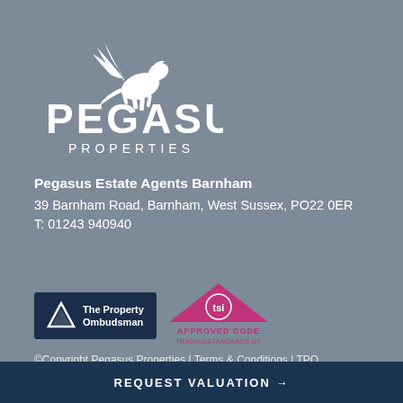[Figure (logo): Pegasus Properties logo — white winged horse above large text PEGASUS with PROPERTIES below in spaced caps]
Pegasus Estate Agents Barnham
39 Barnham Road, Barnham, West Sussex, PO22 0ER
T: 01243 940940
[Figure (logo): The Property Ombudsman badge — dark navy background with white triangle/mountain logo and text 'The Property Ombudsman']
[Figure (logo): TSI Approved Code logo — pink/magenta roof-triangle shape with TSI text and 'APPROVED CODE TRADINGSTANDARDS.UK' text below]
©Copyright Pegasus Properties | Terms & Conditions | TPO Complaints Handling Toolkit | Site Map | Website by fruitful
REQUEST VALUATION →